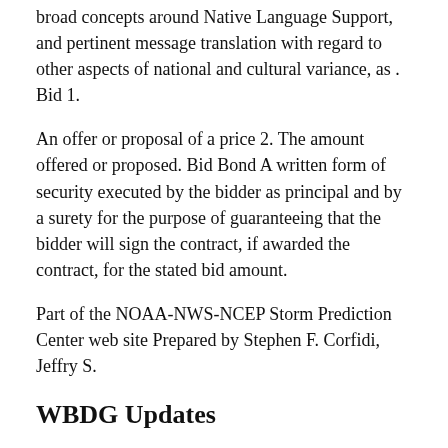broad concepts around Native Language Support, and pertinent message translation with regard to other aspects of national and cultural variance, as . Bid 1.
An offer or proposal of a price 2. The amount offered or proposed. Bid Bond A written form of security executed by the bidder as principal and by a surety for the purpose of guaranteeing that the bidder will sign the contract, if awarded the contract, for the stated bid amount.
Part of the NOAA-NWS-NCEP Storm Prediction Center web site Prepared by Stephen F. Corfidi, Jeffry S.
WBDG Updates
Evans, and Robert H. Johns (with the help of many others). For feedback on "About Derechos," contact Stephen Corfidi Last updated May 15, ; see What's New for recent additions and changes. The Online Writing Lab (OWL) at Purdue University houses writing resources and instructional material, and we